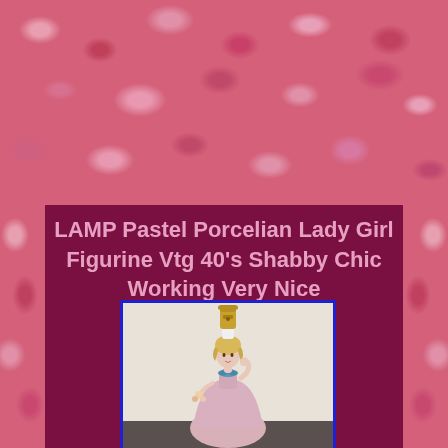LAMP Pastel Porcelian Lady Girl Figurine Vtg 40's Shabby Chic Working Very Nice
[Figure (photo): Photo of a vintage 1940s porcelain lady girl figurine lamp. The figurine shows a woman in a pink ballgown dress with a blue ribbon/bow at the neck, blonde hair, hand raised near her head. The brass lamp socket hardware sits atop the figurine. The lamp is placed on a dark surface against a light beige/cream wall background.]